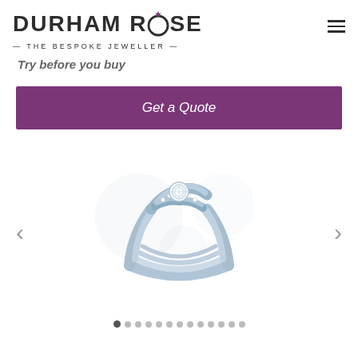DURHAM ROSE — THE BESPOKE JEWELLER —
Try before you buy
Get a Quote
[Figure (photo): A 3D render of a silver/white gold diamond engagement ring with a crossover design and pavé-set diamond band, shown against a white background with navigation arrows and carousel dots.]